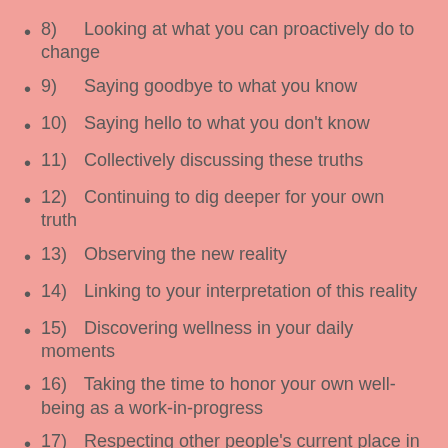8)  Looking at what you can proactively do to change
9)  Saying goodbye to what you know
10)  Saying hello to what you don't know
11)  Collectively discussing these truths
12)  Continuing to dig deeper for your own truth
13)  Observing the new reality
14)  Linking to your interpretation of this reality
15)  Discovering wellness in your daily moments
16)  Taking the time to honor your own well-being as a work-in-progress
17)  Respecting other people's current place in their own work-in-progress